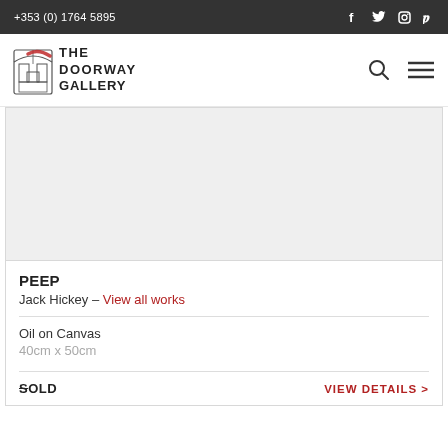+353 (0) 1764 5895
[Figure (logo): The Doorway Gallery logo with architectural doorway illustration and red brushstroke accent]
[Figure (photo): Artwork image placeholder - grey rectangle representing the painting PEEP by Jack Hickey]
PEEP
Jack Hickey – View all works
Oil on Canvas
40cm x 50cm
SOLD
VIEW DETAILS >